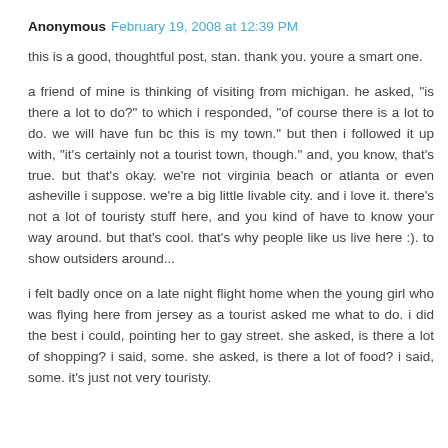Anonymous February 19, 2008 at 12:39 PM
this is a good, thoughtful post, stan. thank you. youre a smart one.
a friend of mine is thinking of visiting from michigan. he asked, "is there a lot to do?" to which i responded, "of course there is a lot to do. we will have fun bc this is my town." but then i followed it up with, "it's certainly not a tourist town, though." and, you know, that's true. but that's okay. we're not virginia beach or atlanta or even asheville i suppose. we're a big little livable city. and i love it. there's not a lot of touristy stuff here, and you kind of have to know your way around. but that's cool. that's why people like us live here :). to show outsiders around...
i felt badly once on a late night flight home when the young girl who was flying here from jersey as a tourist asked me what to do. i did the best i could, pointing her to gay street. she asked, is there a lot of shopping? i said, some. she asked, is there a lot of food? i said, some. it's just not very touristy.